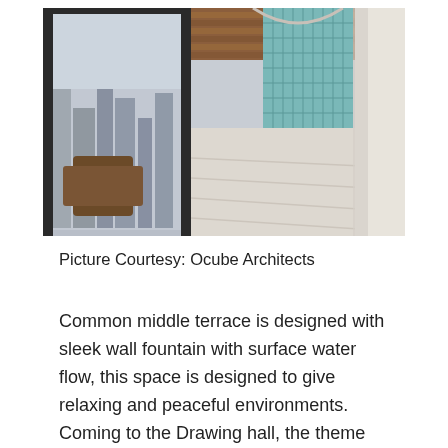[Figure (photo): Interior photo of a terrace or spa-like room with a wooden slatted ceiling, large floor-to-ceiling window on the left showing an outdoor cityscape, teal/aqua tiled decorative wall panel on the right, marble-like floor, and rattan/wicker furniture.]
Picture Courtesy: Ocube Architects
Common middle terrace is designed with sleek wall fountain with surface water flow, this space is designed to give relaxing and peaceful environments. Coming to the Drawing hall, the theme taken is of a royal palace and art deco with modern era modifications